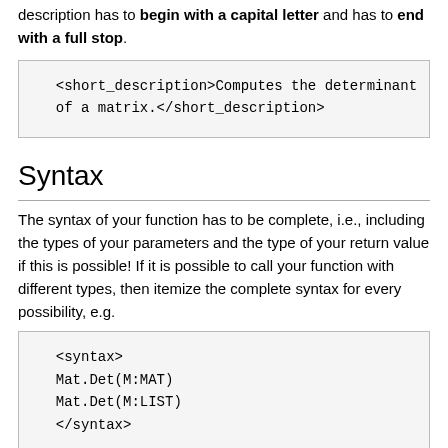description has to begin with a capital letter and has to end with a full stop.
<short_description>Computes the determinant of a matrix.</short_description>
Syntax
The syntax of your function has to be complete, i.e., including the types of your parameters and the type of your return value if this is possible! If it is possible to call your function with different types, then itemize the complete syntax for every possibility, e.g.
<syntax>
Mat.Det(M:MAT)
Mat.Det(M:LIST)
</syntax>